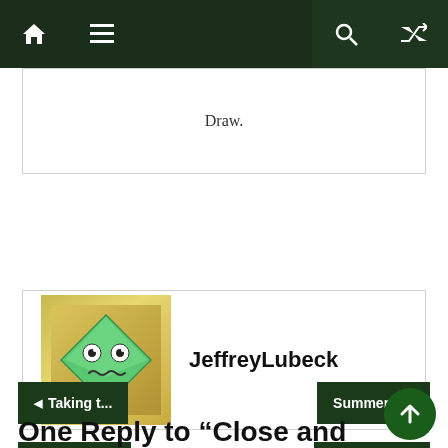Navigation bar with home, menu, search, and shuffle icons
Draw.
JeffreyLubeck
◄ Taking t...
Summer... ►
One Reply to "Close and Out of the Way"